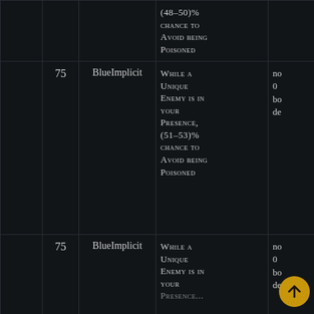|  | Level | Type | Stat | Misc |
| --- | --- | --- | --- | --- |
|  |  |  | (48–50)% chance to Avoid being Poisoned |  |
|  | 75 | BlueImplicit | While a Unique Enemy is in your Presence, (51–53)% chance to Avoid being Poisoned | no
0
bo
de |
|  | 75 | BlueImplicit | While a Unique Enemy is in your Presence, ... | no
0
bo
de |